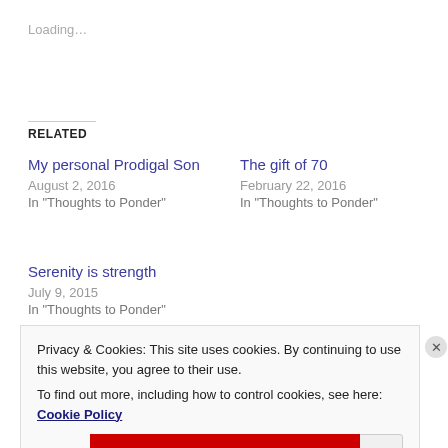Loading…
RELATED
My personal Prodigal Son
August 2, 2016
In "Thoughts to Ponder"
The gift of 70
February 22, 2016
In "Thoughts to Ponder"
Serenity is strength
July 9, 2015
In "Thoughts to Ponder"
Privacy & Cookies: This site uses cookies. By continuing to use this website, you agree to their use.
To find out more, including how to control cookies, see here: Cookie Policy
Close and accept